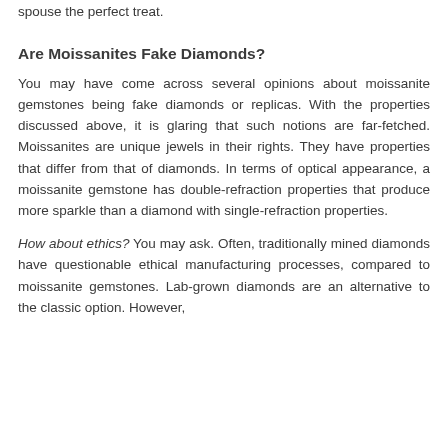spouse the perfect treat.
Are Moissanites Fake Diamonds?
You may have come across several opinions about moissanite gemstones being fake diamonds or replicas. With the properties discussed above, it is glaring that such notions are far-fetched. Moissanites are unique jewels in their rights. They have properties that differ from that of diamonds. In terms of optical appearance, a moissanite gemstone has double-refraction properties that produce more sparkle than a diamond with single-refraction properties.
How about ethics? You may ask. Often, traditionally mined diamonds have questionable ethical manufacturing processes, compared to moissanite gemstones. Lab-grown diamonds are an alternative to the classic option. However,